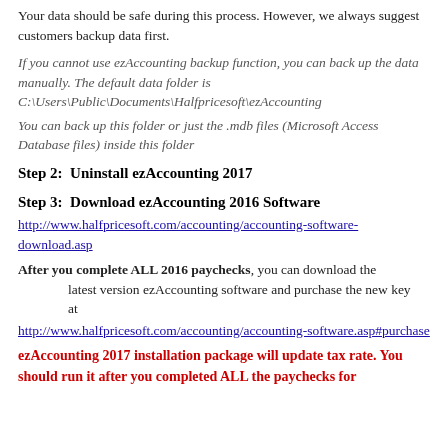Your data should be safe during this process. However, we always suggest customers backup data first.
If you cannot use ezAccounting backup function, you can back up the data manually. The default data folder is C:\Users\Public\Documents\Halfpricesoft\ezAccounting
You can back up this folder or just the .mdb files (Microsoft Access Database files) inside this folder
Step 2:  Uninstall ezAccounting 2017
Step 3:  Download ezAccounting 2016 Software
http://www.halfpricesoft.com/accounting/accounting-software-download.asp
After you complete ALL 2016 paychecks, you can download the latest version ezAccounting software and purchase the new key at
http://www.halfpricesoft.com/accounting/accounting-software.asp#purchase
ezAccounting 2017 installation package will update tax rate. You should run it after you completed ALL the paychecks for